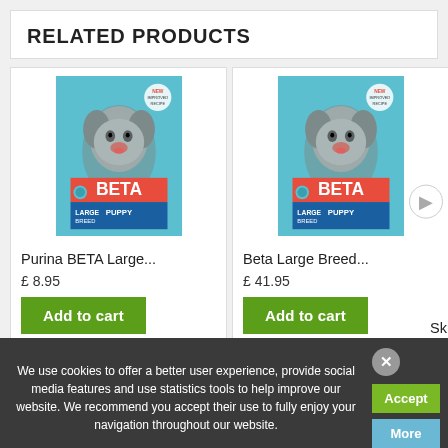RELATED PRODUCTS
[Figure (photo): Purina BETA Large Breed Puppy dry dog food bag with puppy image]
Purina BETA Large...
£ 8.95
Add to cart
[Figure (photo): Beta Large Breed Puppy dry dog food bag with puppy image]
Beta Large Breed...
£ 41.95
Add to cart
Ski
£ 8.
We use cookies to offer a better user experience, provide social media features and use statistics tools to help improve our website. We recommend you accept their use to fully enjoy your navigation throughout our website.
Accept
More